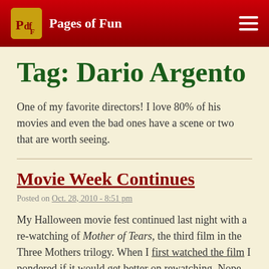Pages of Fun
Tag: Dario Argento
One of my favorite directors! I love 80% of his movies and even the bad ones have a scene or two that are worth seeing.
Movie Week Continues
Posted on Oct. 28, 2010 - 8:51 pm
My Halloween movie fest continued last night with a re-watching of Mother of Tears, the third film in the Three Mothers trilogy. When I first watched the film I pondered if it would get better on rewatching. Nope. It was